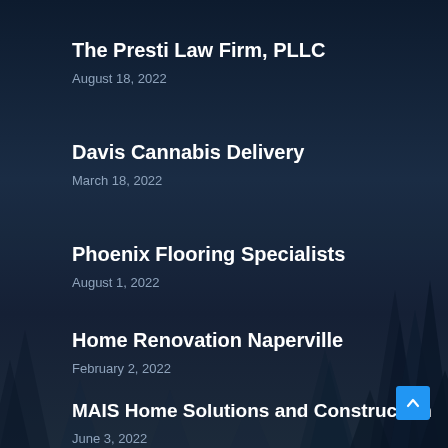The Presti Law Firm, PLLC
August 18, 2022
Davis Cannabis Delivery
March 18, 2022
Phoenix Flooring Specialists
August 1, 2022
Home Renovation Naperville
February 2, 2022
MAIS Home Solutions and Construction
June 3, 2022